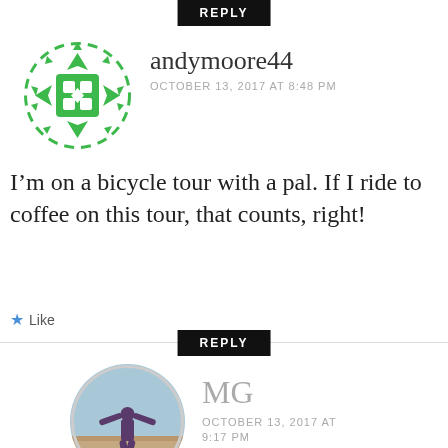REPLY
[Figure (illustration): Green geometric avatar icon with dashed circular border for user andymoore44]
andymoore44
OCTOBER 13, 2017 AT 8:48 PM
I’m on a bicycle tour with a pal. If I ride to coffee on this tour, that counts, right!
★ Like
REPLY
[Figure (photo): Circular profile photo of person with arms outstretched outdoors for user MG]
MG
OCTOBER 13, 2017 AT 9:17 PM